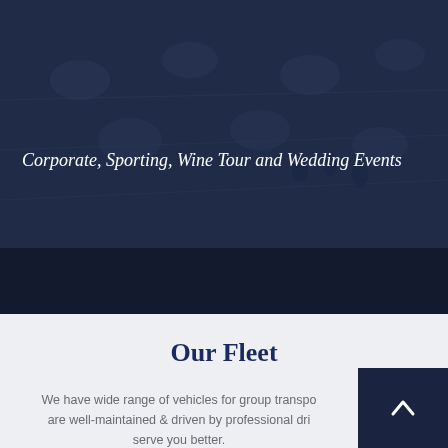[Figure (photo): Aerial/overhead view of an event hall with round tables set for a formal event, people visible, dark blue overlay tint]
Corporate, Sporting, Wine Tour and Wedding Events
Our Fleet
We have wide range of vehicles for group transport are well-maintained & driven by professional drivers to serve you better.